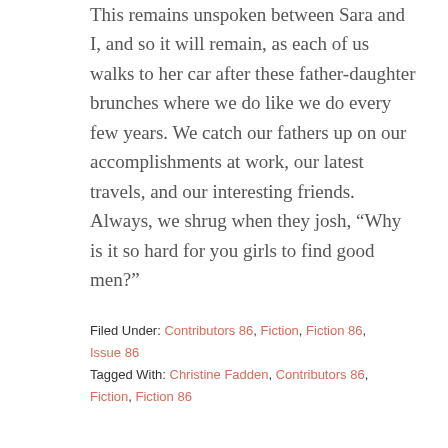This remains unspoken between Sara and I, and so it will remain, as each of us walks to her car after these father-daughter brunches where we do like we do every few years. We catch our fathers up on our accomplishments at work, our latest travels, and our interesting friends. Always, we shrug when they josh, “Why is it so hard for you girls to find good men?”
Filed Under: Contributors 86, Fiction, Fiction 86, Issue 86 Tagged With: Christine Fadden, Contributors 86, Fiction, Fiction 86